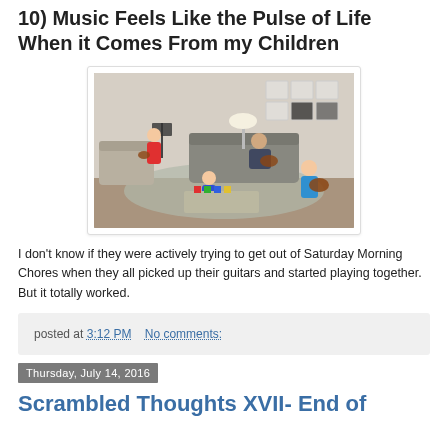10) Music Feels Like the Pulse of Life When it Comes From my Children
[Figure (photo): Children sitting in a living room playing guitars together. One child on left plays near a music stand, one teen reclines on a grey sofa playing guitar, one young child sits at a coffee table with colorful blocks, and one older child sits on the floor on the right playing guitar. Framed photos visible on the wall.]
I don't know if they were actively trying to get out of Saturday Morning Chores when they all picked up their guitars and started playing together. But it totally worked.
posted at 3:12 PM    No comments:
Thursday, July 14, 2016
Scrambled Thoughts XVII- End of